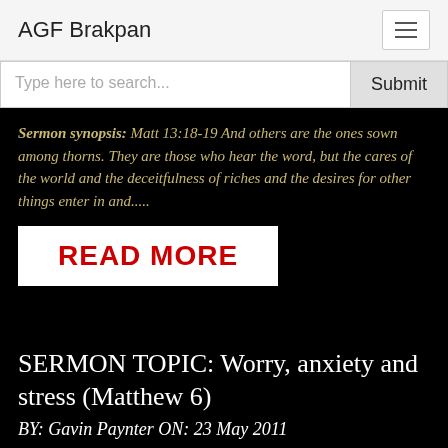AGF Brakpan
Type here to search...
Sermon synopsis: Matt 13:18-19 And others are the ones sown among thorns. They are those who hear the word, but the cares of the world and the deceitfulness of riches and the desires for other things enter in and.....
READ MORE
SERMON TOPIC: Worry, anxiety and stress (Matthew 6)
BY: Gavin Paynter ON: 23 May 2011